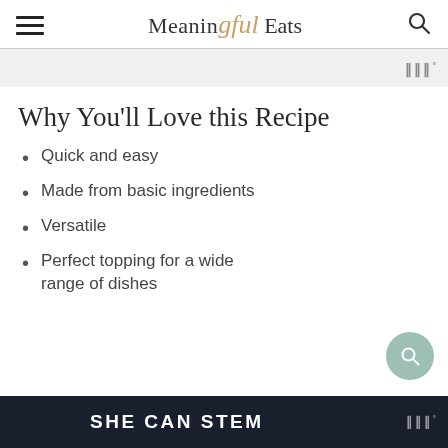Meaningful Eats
Why You’ll Love this Recipe
Quick and easy
Made from basic ingredients
Versatile
Perfect topping for a wide range of dishes
[Figure (screenshot): SHE CAN STEM advertisement banner at the bottom of the page]
SHE CAN STEM